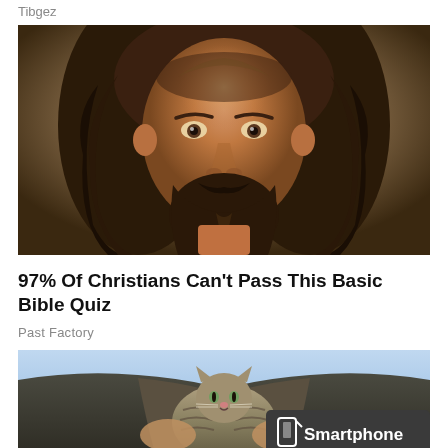Tibgez
[Figure (illustration): Portrait painting of Jesus Christ with long brown hair and beard, looking forward, warm toned background]
97% Of Christians Can't Pass This Basic Bible Quiz
Past Factory
[Figure (photo): Person holding a tabby cat inside an open jacket/vest, blue sky background, with a Smartphone badge overlay in bottom right corner]